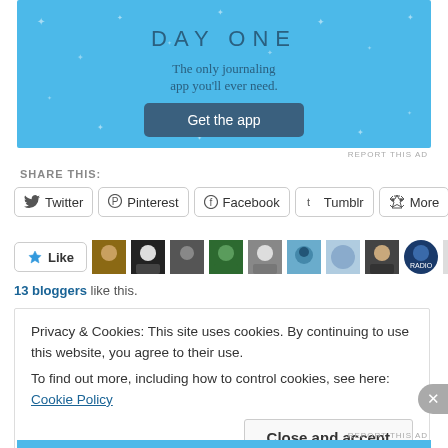[Figure (screenshot): Day One app advertisement banner with light blue background showing 'DAY ONE' title, tagline 'The only journaling app you'll ever need.' and a 'Get the app' button]
REPORT THIS AD
SHARE THIS:
Twitter  Pinterest  Facebook  Tumblr  More
[Figure (screenshot): Like button with star icon and a row of 11 blogger avatar thumbnails]
13 bloggers like this.
Privacy & Cookies: This site uses cookies. By continuing to use this website, you agree to their use.
To find out more, including how to control cookies, see here: Cookie Policy
Close and accept